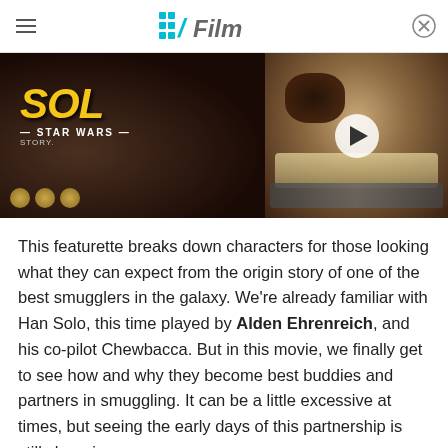/Film
[Figure (screenshot): Two-panel video thumbnail: left side shows Solo: A Star Wars Story title card with yellow text; right side shows a monster/alien creature close-up face with a play button overlay]
This featurette breaks down characters for those looking what they can expect from the origin story of one of the best smugglers in the galaxy. We're already familiar with Han Solo, this time played by Alden Ehrenreich, and his co-pilot Chewbacca. But in this movie, we finally get to see how and why they become best buddies and partners in smuggling. It can be a little excessive at times, but seeing the early days of this partnership is still charming.